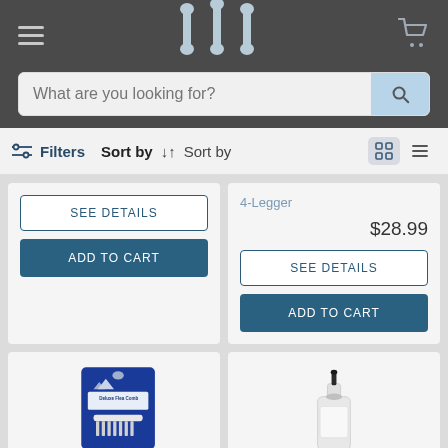[Figure (screenshot): Pet store website header with hamburger menu, bone logo (W shape), and cart icon on dark grey background]
What are you looking for?
Filters  Sort by ↓↑ Sort by
4-Legger
$28.99
SEE DETAILS
ADD TO CART
SEE DETAILS
ADD TO CART
[Figure (photo): Deluxe Flea Comb product in blue packaging]
[Figure (photo): White bottle with black nozzle cap (pet product)]